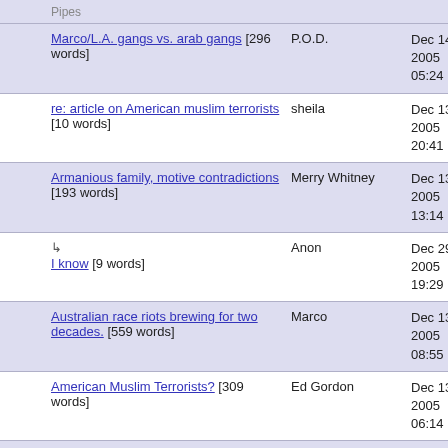|  | Title | Author | Date |
| --- | --- | --- | --- |
|  | Marco/L.A. gangs vs. arab gangs [296 words] | P.O.D. | Dec 14, 2005 05:24 |
|  | re: article on American muslim terrorists [10 words] | sheila | Dec 13, 2005 20:41 |
|  | Armanious family, motive contradictions [193 words] | Merry Whitney | Dec 13, 2005 13:14 |
|  | ↳ I know [9 words] | Anon | Dec 29, 2005 19:29 |
|  | Australian race riots brewing for two decades. [559 words] | Marco | Dec 13, 2005 08:55 |
|  | American Muslim Terrorists? [309 words] | Ed Gordon | Dec 13, 2005 06:14 |
| 5 | Muslim terrorists in Pakistan [2756 words] | n.krishna | Dec 13, 2005 03:32 |
| 1 | ↳ To Krishna, Paradise is guaranteed for those who slay and are slain [361 | Hisham | Dec 14, 2005 17:09 |